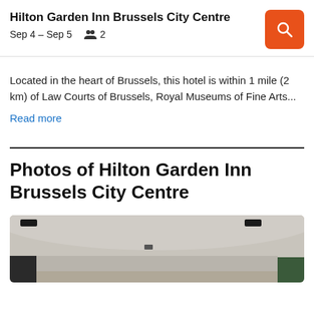Hilton Garden Inn Brussels City Centre
Sep 4 – Sep 5    👥 2
Located in the heart of Brussels, this hotel is within 1 mile (2 km) of Law Courts of Brussels, Royal Museums of Fine Arts...
Read more
Photos of Hilton Garden Inn Brussels City Centre
[Figure (photo): Interior photo of hotel room/lobby showing ceiling with lights, dark walls on left and green wall on right]